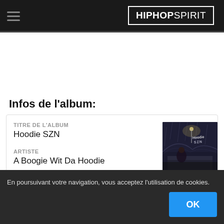HIPHOPSPIRIT
Infos de l'album:
| TITRE DE L'ALBUM | Hoodie SZN |
| ARTISTE | A Boogie Wit Da Hoodie |
[Figure (illustration): Album cover for Hoodie SZN by A Boogie Wit Da Hoodie — dark rainy night scene with a figure seated on a ledge, stylized graffiti-style text reading 'Hoodie SZN']
En poursuivant votre navigation, vous acceptez l'utilisation de cookies.